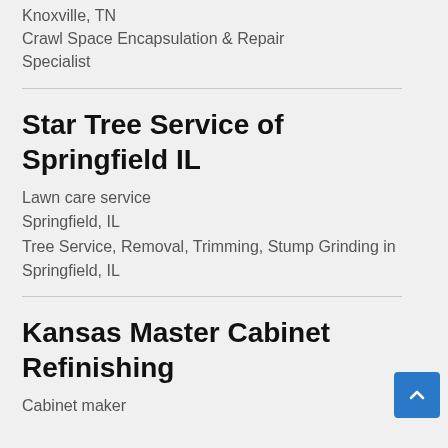Knoxville, TN
Crawl Space Encapsulation & Repair Specialist
Star Tree Service of Springfield IL
Lawn care service
Springfield, IL
Tree Service, Removal, Trimming, Stump Grinding in Springfield, IL
Kansas Master Cabinet Refinishing
Cabinet maker